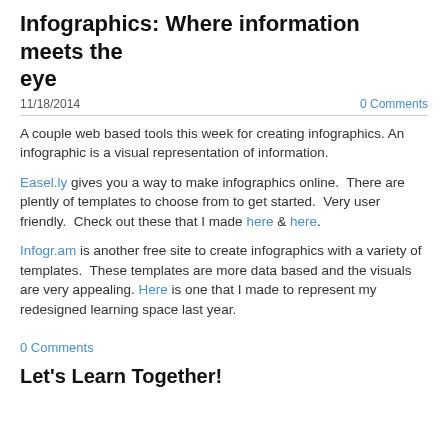Infographics: Where information meets the eye
11/18/2014   0 Comments
A couple web based tools this week for creating infographics. An infographic is a visual representation of information.
Easel.ly gives you a way to make infographics online.  There are plently of templates to choose from to get started.  Very user friendly.  Check out these that I made here & here.
Infogr.am is another free site to create infographics with a variety of templates.  These templates are more data based and the visuals are very appealing. Here is one that I made to represent my redesigned learning space last year.
0 Comments
Let's Learn Together!